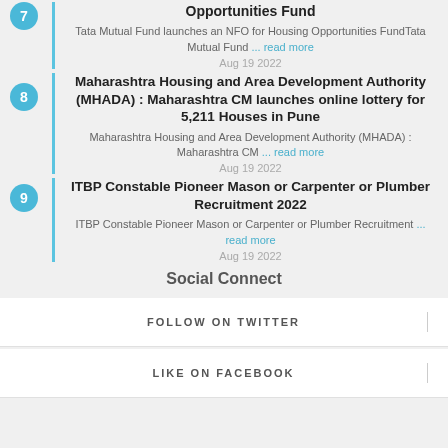Opportunities Fund
Tata Mutual Fund launches an NFO for Housing Opportunities FundTata Mutual Fund ... read more
Aug 19 2022
Maharashtra Housing and Area Development Authority (MHADA) : Maharashtra CM launches online lottery for 5,211 Houses in Pune
Maharashtra Housing and Area Development Authority (MHADA) : Maharashtra CM ... read more
Aug 19 2022
ITBP Constable Pioneer Mason or Carpenter or Plumber Recruitment 2022
ITBP Constable Pioneer Mason or Carpenter or Plumber Recruitment ... read more
Aug 19 2022
Social Connect
FOLLOW ON TWITTER
LIKE ON FACEBOOK